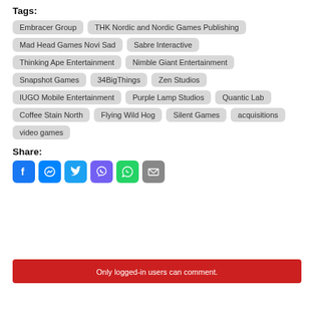Tags:
Embracer Group
THK Nordic and Nordic Games Publishing
Mad Head Games Novi Sad
Sabre Interactive
Thinking Ape Entertainment
Nimble Giant Entertainment
Snapshot Games
34BigThings
Zen Studios
IUGO Mobile Entertainment
Purple Lamp Studios
Quantic Lab
Coffee Stain North
Flying Wild Hog
Silent Games
acquisitions
video games
Share:
Only logged-in users can comment.